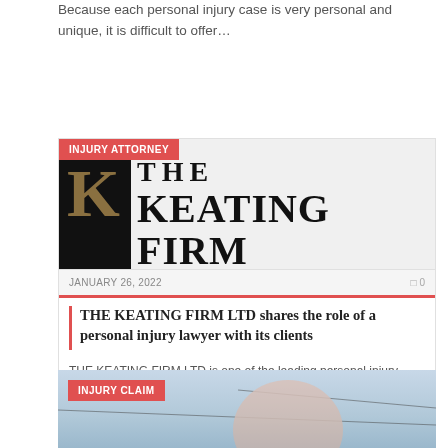Because each personal injury case is very personal and unique, it is difficult to offer…
[Figure (logo): The Keating Firm LTD logo — black box with gold K on left, serif text THE KEATING FIRM LTD on right]
JANUARY 26, 2022   □0
THE KEATING FIRM LTD shares the role of a personal injury lawyer with its clients
THE KEATING FIRM LTD is one of the leading personal injury firms. The firm explained…
[Figure (photo): Outdoor photo showing sky with clouds and power lines, INJURY CLAIM badge in upper left]